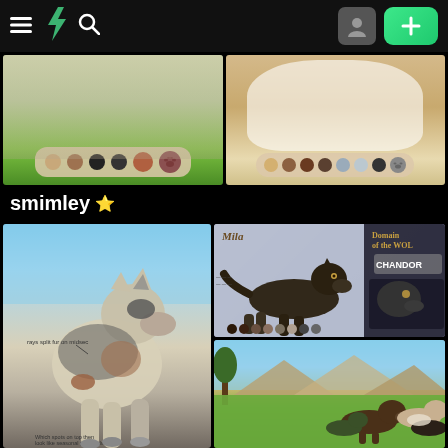DeviantArt navigation bar with hamburger menu, DeviantArt logo, search icon, user avatar, and + button
[Figure (illustration): Furry/wolf character reference sheet showing paw and tail details with color swatches on green background]
[Figure (illustration): Horse or wolf character reference sheet showing white character with color swatches on tan background]
smimley ⭐
[Figure (illustration): Stylized wolf character standing upright with annotation text 'rays split fur on midsec' on blue background]
[Figure (illustration): Reference sheet for Mila wolf character with Domain of the Wolf CHANDOR text, dark wolf on purple/grey background with color swatches]
[Figure (illustration): Scene with multiple wolves running through green grassy field with mountain and tree background]